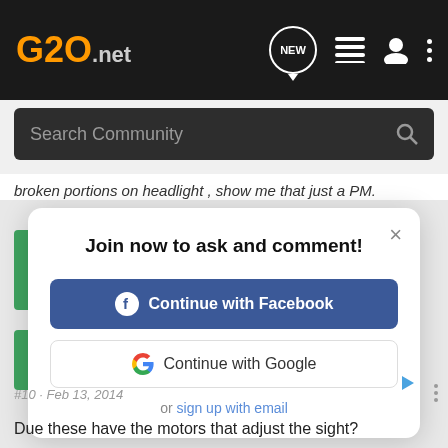G20.net
Search Community
broken portions on headlight , show me that just a PM.
[Figure (screenshot): Modal dialog with title 'Join now to ask and comment!' and two login options: Continue with Facebook (blue button) and Continue with Google (white button), plus 'or sign up with email' link]
#10 · Feb 13, 2014
Due these have the motors that adjust the sight?